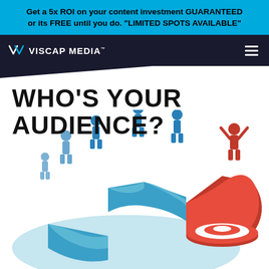Get a 5x ROI on your content investment GUARANTEED or its FREE until you do. "LIMITED SPOTS AVAILABLE"
[Figure (logo): Viscap Media logo with stylized VC emblem and hamburger menu on dark navy navigation bar]
WHO'S YOUR AUDIENCE?
[Figure (illustration): 3D illustration of blue pie chart segments with blue human figure icons standing on them, and a red segment pulled out with a red figure standing on a target/bullseye, representing audience targeting]